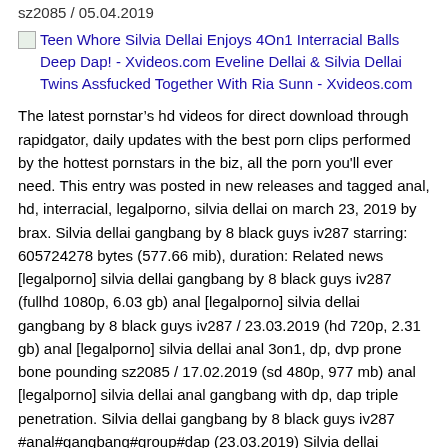sz2085 / 05.04.2019
[Figure (other): Broken image icon followed by link text: Teen Whore Silvia Dellai Enjoys 4On1 Interracial Balls Deep Dap! - Xvideos.com Eveline Dellai & Silvia Dellai Twins Assfucked Together With Ria Sunn - Xvideos.com]
The latest pornstar’s hd videos for direct download through rapidgator, daily updates with the best porn clips performed by the hottest pornstars in the biz, all the porn you'll ever need. This entry was posted in new releases and tagged anal, hd, interracial, legalporno, silvia dellai on march 23, 2019 by brax. Silvia dellai gangbang by 8 black guys iv287 starring: 605724278 bytes (577.66 mib), duration: Related news [legalporno] silvia dellai gangbang by 8 black guys iv287 (fullhd 1080p, 6.03 gb) anal [legalporno] silvia dellai gangbang by 8 black guys iv287 / 23.03.2019 (hd 720p, 2.31 gb) anal [legalporno] silvia dellai anal 3on1, dp, dvp prone bone pounding sz2085 / 17.02.2019 (sd 480p, 977 mb) anal [legalporno] silvia dellai anal gangbang with dp, dap triple penetration. Silvia dellai gangbang by 8 black guys iv287 #anal#gangbang#group#dap (23.03.2019) Silvia dellai gangbang by 8 black guys iv287: